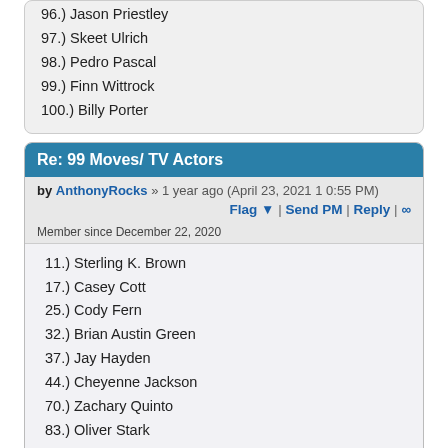96.) Jason Priestley
97.) Skeet Ulrich
98.) Pedro Pascal
99.) Finn Wittrock
100.) Billy Porter
Re: 99 Moves/ TV Actors
by AnthonyRocks » 1 year ago (April 23, 2021 10:55 PM)
Flag ▼ | Send PM | Reply | ∞
Member since December 22, 2020
11.) Sterling K. Brown
17.) Casey Cott
25.) Cody Fern
32.) Brian Austin Green
37.) Jay Hayden
44.) Cheyenne Jackson
70.) Zachary Quinto
83.) Oliver Stark
92.) Paul Wesley
95.) Jesse Williams
Eliminated
22.) Josh Dallas
23.) Steve Howey
24.) Colton Haynes